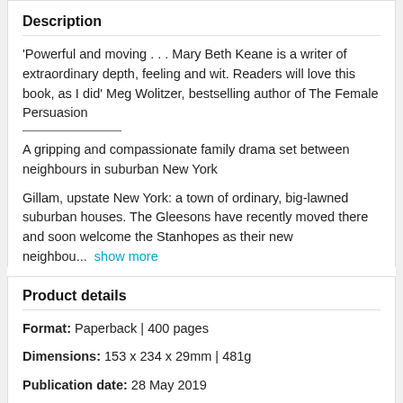Description
'Powerful and moving . . . Mary Beth Keane is a writer of extraordinary depth, feeling and wit. Readers will love this book, as I did' Meg Wolitzer, bestselling author of The Female Persuasion
A gripping and compassionate family drama set between neighbours in suburban New York
Gillam, upstate New York: a town of ordinary, big-lawned suburban houses. The Gleesons have recently moved there and soon welcome the Stanhopes as their new neighbou... show more
Product details
Format: Paperback | 400 pages
Dimensions: 153 x 234 x 29mm | 481g
Publication date: 28 May 2019